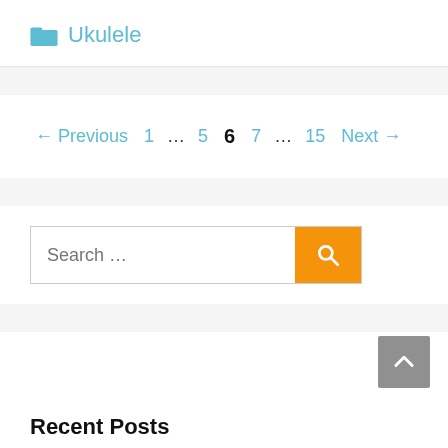Ukulele
← Previous  1  …  5  6  7  …  15  Next →
Search ...
Recent Posts